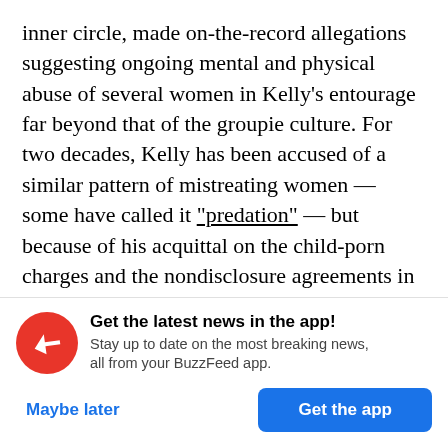inner circle, made on-the-record allegations suggesting ongoing mental and physical abuse of several women in Kelly's entourage far beyond that of the groupie culture. For two decades, Kelly has been accused of a similar pattern of mistreating women — some have called it "predation" — but because of his acquittal on the child-porn charges and the nondisclosure agreements in his numerous civil cases, the charges have remained in the realm of gossip instead of derailing his career. Major record companies, television shows, and other stars
[Figure (infographic): BuzzFeed app promotional banner with red circular logo containing a white arrow, headline 'Get the latest news in the app!', subtext 'Stay up to date on the most breaking news, all from your BuzzFeed app.', and two buttons: 'Maybe later' (blue text) and 'Get the app' (blue filled button).]